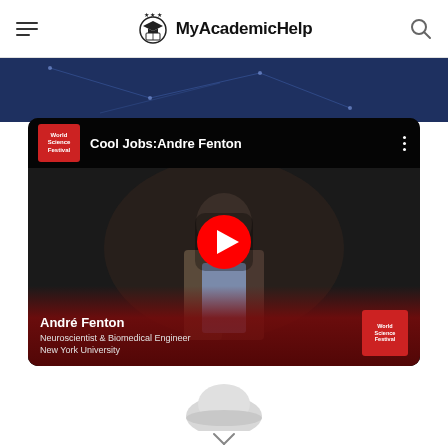MyAcademicHelp
[Figure (screenshot): YouTube video thumbnail for 'Cool Jobs: Andre Fenton' from World Science Festival. Shows André Fenton, Neuroscientist & Biomedical Engineer at New York University, standing on a dark stage with a red play button overlay. Video is embedded in a black rounded-corner player with WSF logo and title in the top bar.]
[Figure (photo): Partial view of a person's head with a light-colored hat or helmet, cropped at the bottom of the page.]